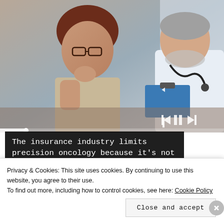[Figure (photo): A middle-aged woman with glasses looking concerned while a doctor in a white coat with a stethoscope shows her a clipboard in a medical setting. Media playback controls and a progress bar overlay the bottom of the image.]
The insurance industry limits precision oncology because it's not about you.
Sponsored by Envita Medical Centers
[Figure (photo): Small thumbnail image showing a dark medical or brain scan image]
'House Of The Dragon'
Privacy & Cookies: This site uses cookies. By continuing to use this website, you agree to their use.
To find out more, including how to control cookies, see here: Cookie Policy
Close and accept